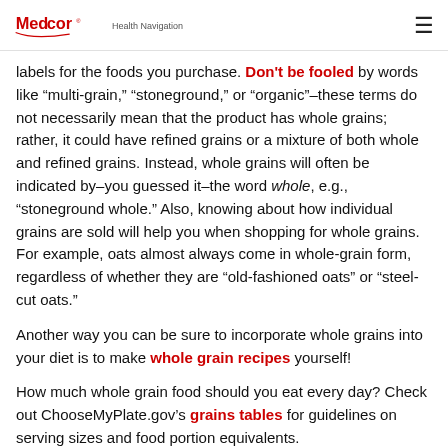Medcor Health Navigation
labels for the foods you purchase. Don't be fooled by words like “multi-grain,” “stoneground,” or “organic”–these terms do not necessarily mean that the product has whole grains; rather, it could have refined grains or a mixture of both whole and refined grains. Instead, whole grains will often be indicated by–you guessed it–the word whole, e.g., “stoneground whole.” Also, knowing about how individual grains are sold will help you when shopping for whole grains. For example, oats almost always come in whole-grain form, regardless of whether they are “old-fashioned oats” or “steel-cut oats.”
Another way you can be sure to incorporate whole grains into your diet is to make whole grain recipes yourself!
How much whole grain food should you eat every day? Check out ChooseMyPlate.gov’s grains tables for guidelines on serving sizes and food portion equivalents.